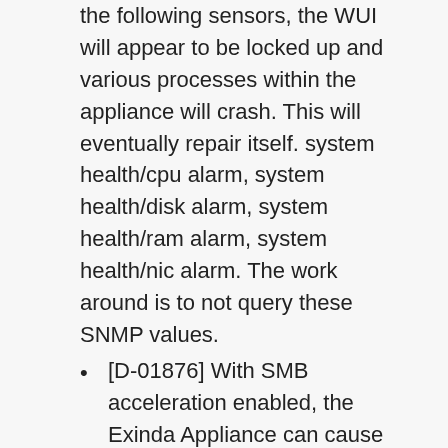the following sensors, the WUI will appear to be locked up and various processes within the appliance will crash. This will eventually repair itself. system health/cpu alarm, system health/disk alarm, system health/ram alarm, system health/nic alarm. The work around is to not query these SNMP values.
[D-01876] With SMB acceleration enabled, the Exinda Appliance can cause the Dell Kace K1000 to fail. The work around is to create